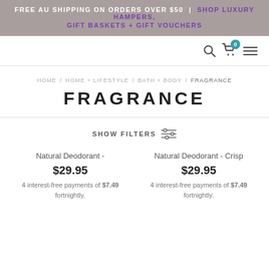FREE AU SHIPPING ON ORDERS OVER $50 | SHOP LUXURY HAMPERS, GIFT BASKETS + GIFT VOUCHERS
HOME / HOME + LIFESTYLE / BATH + BODY / FRAGRANCE
FRAGRANCE
SHOW FILTERS
Natural Deodorant -
$29.95
4 interest-free payments of $7.49 fortnightly.
Natural Deodorant - Crisp
$29.95
4 interest-free payments of $7.49 fortnightly.